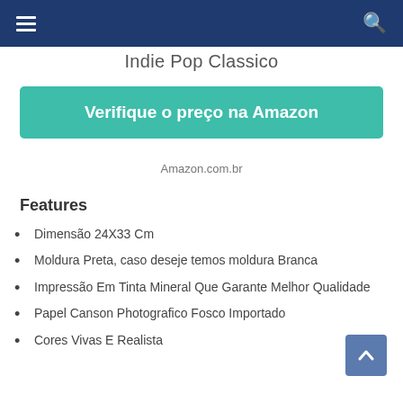≡  Indie Pop Classico  🔍
Indie Pop Classico
Verifique o preço na Amazon
Amazon.com.br
Features
Dimensão 24X33 Cm
Moldura Preta, caso deseje temos moldura Branca
Impressão Em Tinta Mineral Que Garante Melhor Qualidade
Papel Canson Photografico Fosco Importado
Cores Vivas E Realista